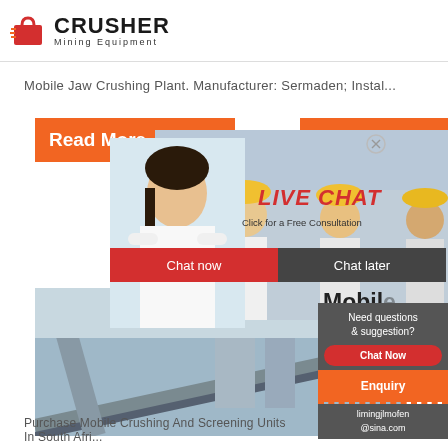[Figure (logo): Crusher Mining Equipment logo with red shopping bag icon and bold CRUSHER text]
Mobile Jaw Crushing Plant. Manufacturer: Sermaden; Instal...
[Figure (infographic): Live Chat popup overlay with workers in hard hats, woman consultant photo, LIVE CHAT heading, Chat now and Chat later buttons, 24Hrs Online banner, Need questions & suggestion sidebar with Chat Now button, Enquiry bar, email limingjlmofen@sina.com]
Purchase Mobile Crushing And Screening Units In South Afri...